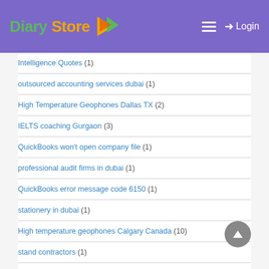Diary Store — Login
Intelligence Quotes (1)
outsourced accounting services dubai (1)
High Temperature Geophones Dallas TX (2)
IELTS coaching Gurgaon (3)
QuickBooks won't open company file (1)
professional audit firms in dubai (1)
QuickBooks error message code 6150 (1)
stationery in dubai (1)
High temperature geophones Calgary Canada (10)
stand contractors (1)
QuickBooks account connection error 355 (1)
Error 1311 in QuickBooks (1)